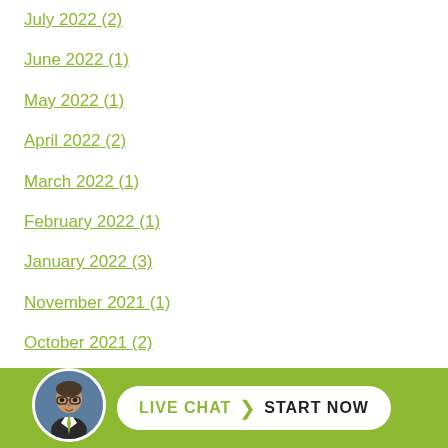July 2022 (2)
June 2022 (1)
May 2022 (1)
April 2022 (2)
March 2022 (1)
February 2022 (1)
January 2022 (3)
November 2021 (1)
October 2021 (2)
September 20...
[Figure (infographic): Live chat widget with avatar photo of a man with glasses, green bar at bottom with 'LIVE CHAT > START NOW' button in white pill shape]